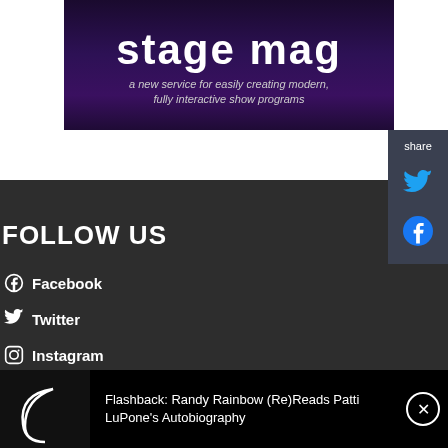[Figure (logo): Stage Mag banner — dark purple gradient background with large white 'stage mag' text and subtitle 'a new service for easily creating modern, fully interactive show programs']
[Figure (screenshot): Share sidebar with Twitter and Facebook icons on dark background, labeled 'share']
FOLLOW US
Facebook
Twitter
Instagram
Flashback: Randy Rainbow (Re)Reads Patti LuPone's Autobiography